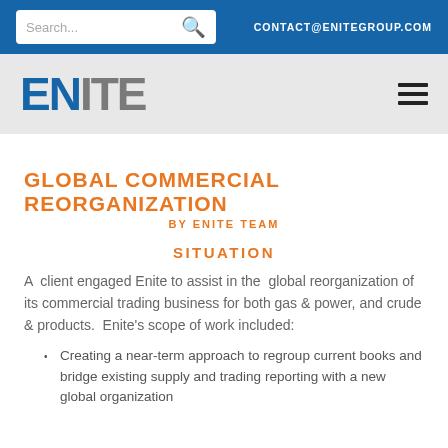Search... CONTACT@ENITEGROUP.COM
[Figure (logo): ENITE company logo with blue EN and gray ITE text, with hamburger menu icon]
GLOBAL COMMERCIAL REORGANIZATION
BY ENITE TEAM
SITUATION
A client engaged Enite to assist in the global reorganization of its commercial trading business for both gas & power, and crude & products. Enite's scope of work included:
Creating a near-term approach to regroup current books and bridge existing supply and trading reporting with a new global organization